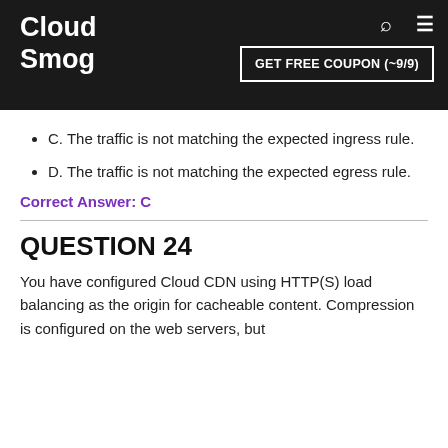Cloud Smog — GET FREE COUPON (~9/9)
C. The traffic is not matching the expected ingress rule.
D. The traffic is not matching the expected egress rule.
Correct Answer: C
QUESTION 24
You have configured Cloud CDN using HTTP(S) load balancing as the origin for cacheable content. Compression is configured on the web servers, but